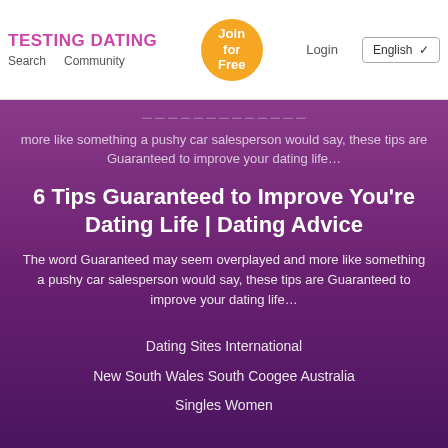TESTING DATING Search Community Join for Free Login English
more like something a pushy car salesperson would say, these tips are Guaranteed to improve your dating life…
6 Tips Guaranteed to Improve You're Dating Life | Dating Advice
The word Guaranteed may seem overplayed and more like something a pushy car salesperson would say, these tips are Guaranteed to improve your dating life…
Dating Sites International
New South Wales South Coogee Australia
Singles Women